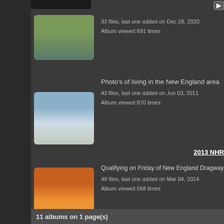[Figure (photo): Partial dark thumbnail at top left, cropped]
33 files, last one added on Dec 28, 2020
Album viewed 691 times
[Figure (photo): Thumbnail of a covered bridge in New England autumn foliage]
Photo's of living in the New England area
43 files, last one added on Jun 03, 2011
Album viewed 870 times
[Figure (photo): Thumbnail of a snow-capped mountain with a large white building in front]
2013 NH…
Qualifying on Friday of New England Dragway NHR…
49 files, last one added on Mar 04, 2014
Album viewed 568 times
[Figure (photo): Thumbnail of drag racing cars on a track with orange cars visible]
11 albums on 1 page(s)